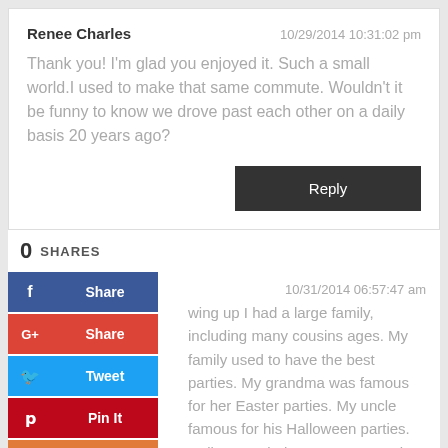Renee Charles
10/29/2014 10:31:02 pm
Thank you! I'm glad you enjoyed it. Such a small world.I used to make that same commute. Wouldn't it be funny to know we drove past each other on a daily basis 20 years ago?
Reply
0 SHARES
10/31/2014 06:57:47 am
wing up I had a large family, including many cousins ages. My family used to have the best parties. My grandma was famous for her Easter parties. My uncle famous for his Halloween parties. Halloween ded a costume parade, bobbing for apples, piñatas, and a hay ride. Some of my uncles always liked to tease l. One Halloween they decided that our hay ride would take place at the local cemetery. Normally we just rode through town. So this was going to be different, and very scary for young kids. Well we just thought it